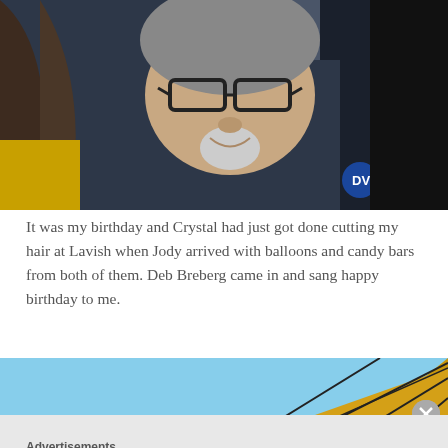[Figure (photo): Selfie photo of a middle-aged man with glasses and a white goatee, wearing a dark jacket, smiling at the camera. Two other people visible behind him.]
It was my birthday and Crystal had just got done cutting my hair at Lavish when Jody arrived with balloons and candy bars from both of them. Deb Breberg came in and sang happy birthday to me.
[Figure (photo): Partial photo showing a golden/yellow geometric structure against a blue sky, with a circular close button overlay in the bottom right.]
Advertisements